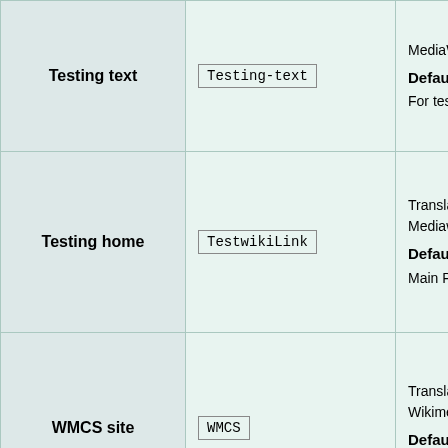| Name | Variable | Description |
| --- | --- | --- |
| Testing text | Testing-text | MediaWiki tes
Default
For testing s |
| Testing home | TestwikiLink | Translated ho
Mediawiki test
Default
Main Page |
| WMCS site | WMCS | Translated na
Wikimedia Clo
Default
Wikimedia C |
|  |  | Short translate
Wikimedia Clo |